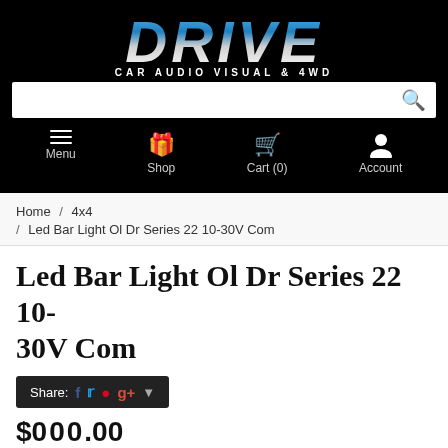[Figure (logo): Drive Car Audio Visual & 4WD logo with stylized blue/silver italic text on black background]
CAR AUDIO VISUAL & 4WD
Search bar with search icon
Menu | Shop | Cart (0) | Account
Home / 4x4 / Led Bar Light Ol Dr Series 22 10-30V Com
Led Bar Light Ol Dr Series 22 10-30V Com
Share: [Facebook] [Twitter] [Pinterest] [Google+]
$000.00